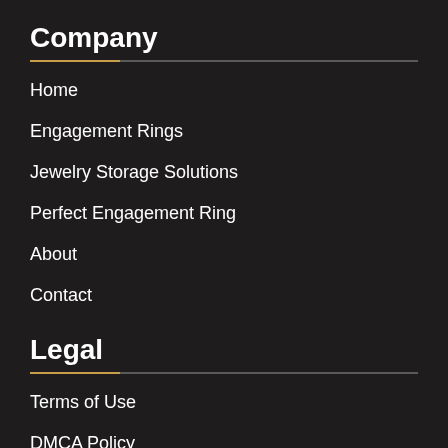Company
Home
Engagement Rings
Jewelry Storage Solutions
Perfect Engagement Ring
About
Contact
Legal
Terms of Use
DMCA Policy